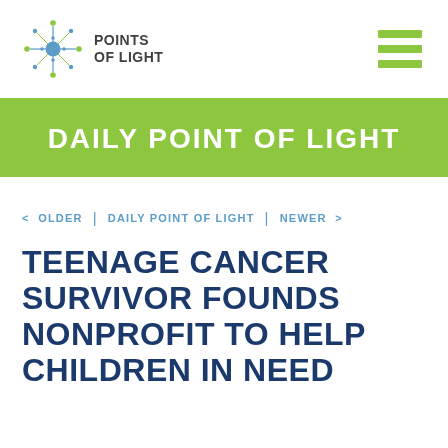POINTS OF LIGHT
DAILY POINT OF LIGHT
< OLDER | DAILY POINT OF LIGHT | NEWER >
TEENAGE CANCER SURVIVOR FOUNDS NONPROFIT TO HELP CHILDREN IN NEED